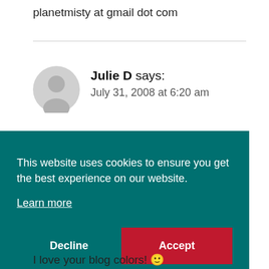planetmisty at gmail dot com
Julie D says:
July 31, 2008 at 6:20 am
This website uses cookies to ensure you get the best experience on our website.
Learn more
Decline   Accept
I love your blog colors! 🙂